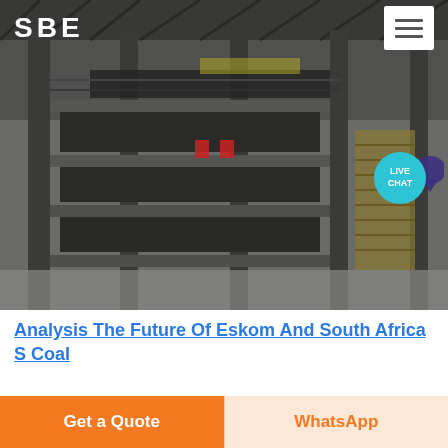[Figure (photo): Industrial facility interior showing multi-level steel structure with conveyor systems, columns, and staircases — appears to be a coal handling or power plant facility]
SBE
Analysis The Future Of Eskom And South Africa S Coal
Analysis The Future of Eskom and South Africa s
Get a Quote
WhatsApp